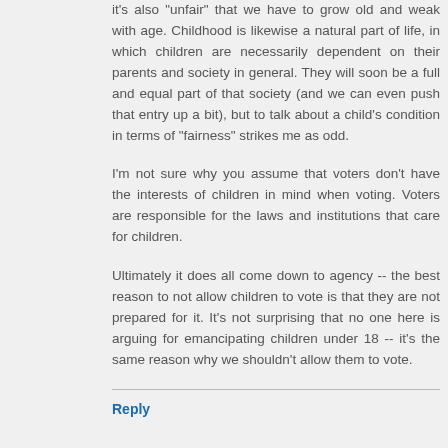it's also "unfair" that we have to grow old and weak with age. Childhood is likewise a natural part of life, in which children are necessarily dependent on their parents and society in general. They will soon be a full and equal part of that society (and we can even push that entry up a bit), but to talk about a child's condition in terms of "fairness" strikes me as odd.
I'm not sure why you assume that voters don't have the interests of children in mind when voting. Voters are responsible for the laws and institutions that care for children.
Ultimately it does all come down to agency -- the best reason to not allow children to vote is that they are not prepared for it. It's not surprising that no one here is arguing for emancipating children under 18 -- it's the same reason why we shouldn't allow them to vote.
Reply